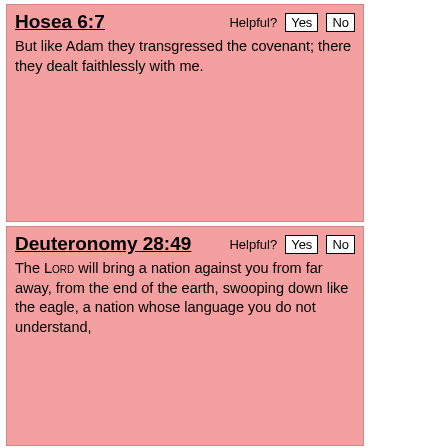Hosea 6:7
Helpful? Yes No
But like Adam they transgressed the covenant; there they dealt faithlessly with me.
Deuteronomy 28:49
Helpful? Yes No
The Lord will bring a nation against you from far away, from the end of the earth, swooping down like the eagle, a nation whose language you do not understand,
Hosea 5:8
Helpful? Yes No